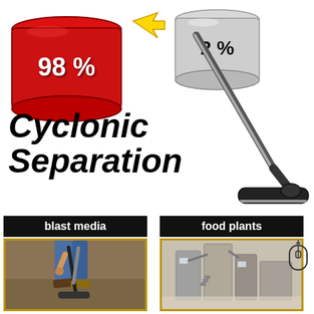[Figure (infographic): Red barrel labeled 98% and smaller gray barrel labeled 2% with yellow arrow, plus a vacuum cleaner wand/floor tool, illustrating cyclonic separation principle]
Cyclonic Separation
blast media
food plants
[Figure (photo): Person using vacuum hose on floor - blast media application]
[Figure (photo): Industrial food plant interior with equipment]
[Figure (illustration): Mouse cursor icon]